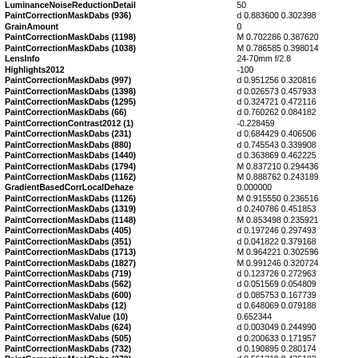| Key | Value |
| --- | --- |
| LuminanceNoiseReductionDetail | 50 |
| PaintCorrectionMaskDabs (936) | d 0.883600 0.302398 |
| GrainAmount | 0 |
| PaintCorrectionMaskDabs (1198) | M 0.702286 0.387620 |
| PaintCorrectionMaskDabs (1038) | M 0.786585 0.398014 |
| LensInfo | 24-70mm f/2.8 |
| Highlights2012 | -100 |
| PaintCorrectionMaskDabs (997) | d 0.951256 0.320816 |
| PaintCorrectionMaskDabs (1398) | d 0.026573 0.457933 |
| PaintCorrectionMaskDabs (1295) | d 0.324721 0.472116 |
| PaintCorrectionMaskDabs (66) | d 0.760262 0.084182 |
| PaintCorrectionContrast2012 (1) | -0.228459 |
| PaintCorrectionMaskDabs (231) | d 0.684429 0.406506 |
| PaintCorrectionMaskDabs (880) | d 0.745543 0.339908 |
| PaintCorrectionMaskDabs (1440) | d 0.363869 0.462225 |
| PaintCorrectionMaskDabs (1794) | M 0.837210 0.294436 |
| PaintCorrectionMaskDabs (1162) | M 0.888762 0.243189 |
| GradientBasedCorrLocalDehaze | 0.000000 |
| PaintCorrectionMaskDabs (1126) | M 0.915550 0.236516 |
| PaintCorrectionMaskDabs (1319) | d 0.240786 0.451853 |
| PaintCorrectionMaskDabs (1148) | M 0.853498 0.235921 |
| PaintCorrectionMaskDabs (405) | d 0.197246 0.297493 |
| PaintCorrectionMaskDabs (351) | d 0.041822 0.379168 |
| PaintCorrectionMaskDabs (1713) | M 0.964221 0.302596 |
| PaintCorrectionMaskDabs (1827) | M 0.991246 0.320724 |
| PaintCorrectionMaskDabs (719) | d 0.123726 0.272963 |
| PaintCorrectionMaskDabs (562) | d 0.051569 0.054809 |
| PaintCorrectionMaskDabs (600) | d 0.085753 0.167739 |
| PaintCorrectionMaskDabs (12) | d 0.648069 0.079188 |
| PaintCorrectionMaskValue (10) | 0.652344 |
| PaintCorrectionMaskDabs (624) | d 0.003049 0.244990 |
| PaintCorrectionMaskDabs (505) | d 0.200633 0.171957 |
| PaintCorrectionMaskDabs (732) | d 0.190895 0.280174 |
| PaintCorrectionMaskDabs (270) | d 0.561319 0.436182 |
| PaintCorrectionMaskDabs (1132) | M 0.959813 0.244668 |
| PaintCorrectionMaskDabs (358) | d 0.064323 0.356486 |
| PaintCorrectionMaskDabs (764) | d 0.640962 0.097106 |
| PaintCorrectionMaskDabs (1359) | d 0.189281 0.465764 |